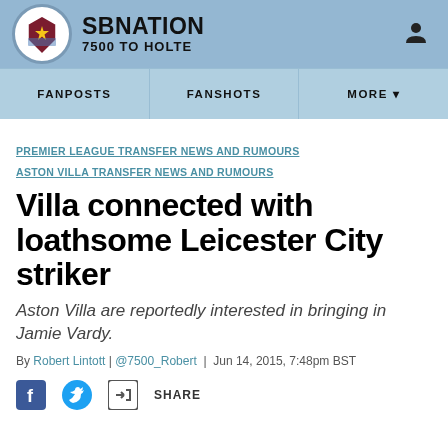SBNATION 7500 TO HOLTE
FANPOSTS
FANSHOTS
MORE
PREMIER LEAGUE TRANSFER NEWS AND RUMOURS
ASTON VILLA TRANSFER NEWS AND RUMOURS
Villa connected with loathsome Leicester City striker
Aston Villa are reportedly interested in bringing in Jamie Vardy.
By Robert Lintott | @7500_Robert | Jun 14, 2015, 7:48pm BST